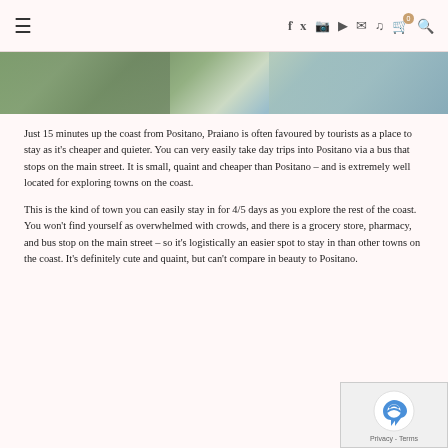≡  [navigation icons: facebook, twitter, instagram, youtube, mail, tiktok, cart(0), search]
[Figure (photo): Partial view of a coastal scene photo strip showing greenery and tiled patterns]
Just 15 minutes up the coast from Positano, Praiano is often favoured by tourists as a place to stay as it's cheaper and quieter. You can very easily take day trips into Positano via a bus that stops on the main street. It is small, quaint and cheaper than Positano – and is extremely well located for exploring towns on the coast.
This is the kind of town you can easily stay in for 4/5 days as you explore the rest of the coast. You won't find yourself as overwhelmed with crowds, and there is a grocery store, pharmacy, and bus stop on the main street – so it's logistically an easier spot to stay in than other towns on the coast. It's definitely cute and quaint, but can't compare in beauty to Positano.